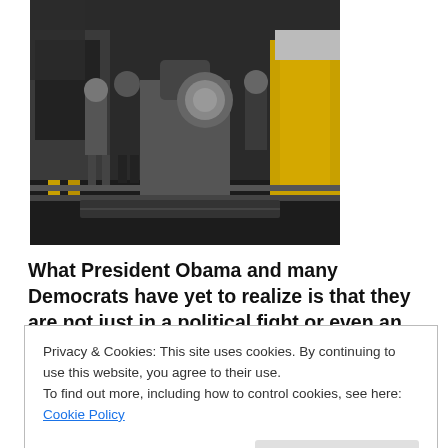[Figure (photo): Black and white photograph of people standing in an industrial/manufacturing facility with machinery, yellow safety barriers, and equipment visible.]
What President Obama and many Democrats have yet to realize is that they are not just in a political fight or even an ideological battle. They are in a zero-sum war over whether Real America will govern this land or whether political control will be ceded to Other
Privacy & Cookies: This site uses cookies. By continuing to use this website, you agree to their use.
To find out more, including how to control cookies, see here: Cookie Policy
Similar struggles were waged when European whites